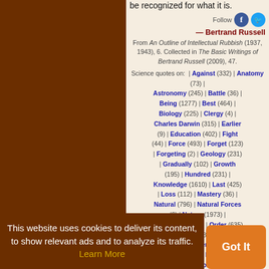be recognized for what it is.
Follow
— Bertrand Russell
From An Outline of Intellectual Rubbish (1937, 1943), 6. Collected in The Basic Writings of Bertrand Russell (2009), 47.
Science quotes on: | Against (332) | Anatomy (73) | Astronomy (245) | Battle (36) | Being (1277) | Best (464) | Biology (225) | Clergy (4) | Charles Darwin (315) | Earlier (9) | Education (402) | Fight (44) | Force (493) | Forget (123) | Forgeting (2) | Geology (231) | Gradually (102) | Growth (195) | Hundred (231) | Knowledge (1610) | Last (425) | Loss (112) | Mastery (36) | Natural (796) | Natural Forces (6) | Nature (1973) | Obscurantism (3) | Order (635) | Physiology (98) | Present (625) | Prevent (96) | Prevention (37) | Psychology | Public (92) | Recognition (81) | Rise (165) | Science And Religion (330) | Scientific (946) | Scientific Theory (24) | Sociology (46) | Stage (146) | Theory (996)
This website uses cookies to deliver its content, to show relevant ads and to analyze its traffic. Learn More